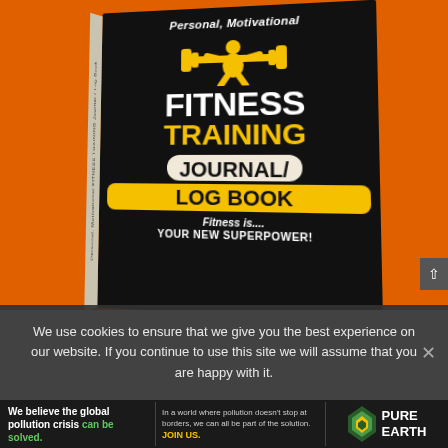[Figure (photo): Book cover for 'Personal, Motivational Fitness Training Journal/Log Book' shown in 3D perspective on an orange background. Black cover with yellow weightlifter silhouette. Text reads: Personal, Motivational / FITNESS / TRAINING / JOURNAL/ / LOG BOOK / Fitness is.... YOUR NEW SUPERPOWER!]
We use cookies to ensure that we give you the best experience on our website. If you continue to use this site we will assume that you are happy with it.
[Figure (logo): Pure Earth advertisement banner. Left: 'We believe the global pollution crisis can be solved.' Middle: 'In a world where pollution doesn't stop at borders, we can all be part of the solution. JOIN US.' Right: Pure Earth diamond logo with text PURE EARTH.]